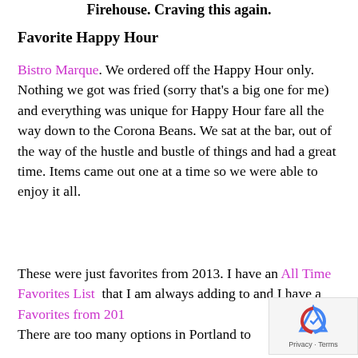Firehouse. Craving this again.
Favorite Happy Hour
Bistro Marque. We ordered off the Happy Hour only. Nothing we got was fried (sorry that's a big one for me) and everything was unique for Happy Hour fare all the way down to the Corona Beans. We sat at the bar, out of the way of the hustle and bustle of things and had a great time. Items came out one at a time so we were able to enjoy it all.
These were just favorites from 2013. I have an All Time Favorites List that I am always adding to and I have a Favorites from 201... There are too many options in Portland to...